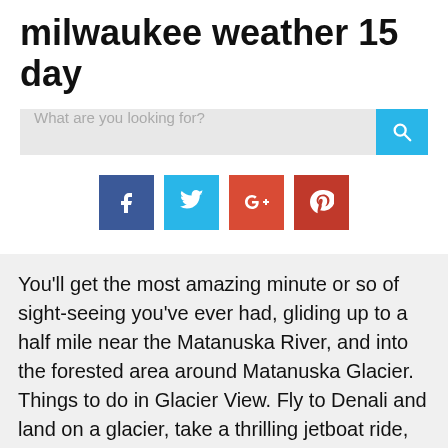milwaukee weather 15 day
[Figure (screenshot): Search bar with placeholder text 'What are you looking for?' and a cyan search button with magnifying glass icon]
[Figure (infographic): Four social media icon buttons: Facebook (dark blue), Twitter (cyan), Google Plus (red-orange), Pinterest (red)]
You'll get the most amazing minute or so of sight-seeing you've ever had, gliding up to a half mile near the Matanuska River, and into the forested area around Matanuska Glacier. Things to do in Glacier View. Fly to Denali and land on a glacier, take a thrilling jetboat ride, visit a dog team kennel, zip line, or go for hike. It starts…. And most importantly, enjoy the many beautiful views, wildlife sightings and activities that Glacier View has to offer! The first part of the trail is good for the whole family but gets more difficult as